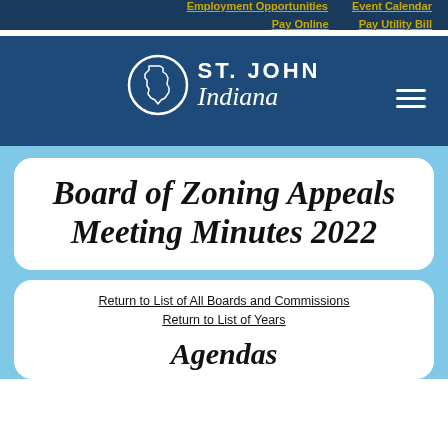Employment Opportunities   Event Calendar   Pay Online   Pay Utility Bill
[Figure (logo): St. John Indiana circular logo with state outline, white on dark blue background]
Board of Zoning Appeals Meeting Minutes 2022
Return to List of All Boards and Commissions
Return to List of Years
Agendas